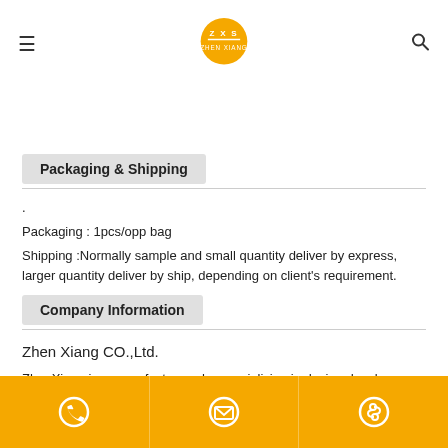ZXS ZHEN XIANG
Packaging & Shipping
Packaging : 1pcs/opp bag
Shipping :Normally sample and small quantity deliver by express, larger quantity deliver by ship, depending on client's requirement.
Company Information
Zhen Xiang CO.,Ltd.
ZhenXiang is a manufacturer who specializing in design,develop,
Phone | Email | Skype